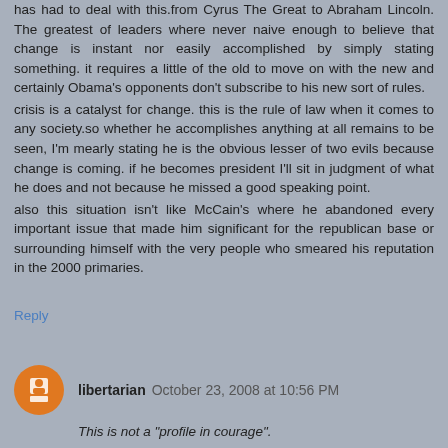has had to deal with this.from Cyrus The Great to Abraham Lincoln. The greatest of leaders where never naive enough to believe that change is instant nor easily accomplished by simply stating something. it requires a little of the old to move on with the new and certainly Obama's opponents don't subscribe to his new sort of rules.
crisis is a catalyst for change. this is the rule of law when it comes to any society.so whether he accomplishes anything at all remains to be seen, I'm mearly stating he is the obvious lesser of two evils because change is coming. if he becomes president I'll sit in judgment of what he does and not because he missed a good speaking point.
also this situation isn't like McCain's where he abandoned every important issue that made him significant for the republican base or surrounding himself with the very people who smeared his reputation in the 2000 primaries.
Reply
libertarian October 23, 2008 at 10:56 PM
This is not a "profile in courage".